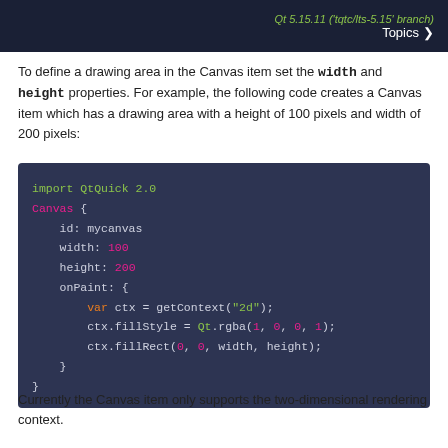Qt 5.15.11 ('tqtc/lts-5.15' branch) Topics >
To define a drawing area in the Canvas item set the width and height properties. For example, the following code creates a Canvas item which has a drawing area with a height of 100 pixels and width of 200 pixels:
[Figure (screenshot): Code block showing QML Canvas example with import QtQuick 2.0, Canvas element with id mycanvas, width 100, height 200, and onPaint handler using var ctx = getContext("2d"), ctx.fillStyle = Qt.rgba(1, 0, 0, 1), ctx.fillRect(0, 0, width, height)]
Currently the Canvas item only supports the two-dimensional rendering context.